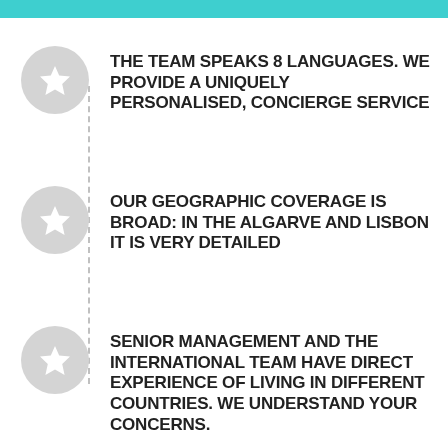THE TEAM SPEAKS 8 LANGUAGES. WE PROVIDE A UNIQUELY PERSONALISED, CONCIERGE SERVICE
OUR GEOGRAPHIC COVERAGE IS BROAD: IN THE ALGARVE AND LISBON IT IS VERY DETAILED
SENIOR MANAGEMENT AND THE INTERNATIONAL TEAM HAVE DIRECT EXPERIENCE OF LIVING IN DIFFERENT COUNTRIES. WE UNDERSTAND YOUR CONCERNS.